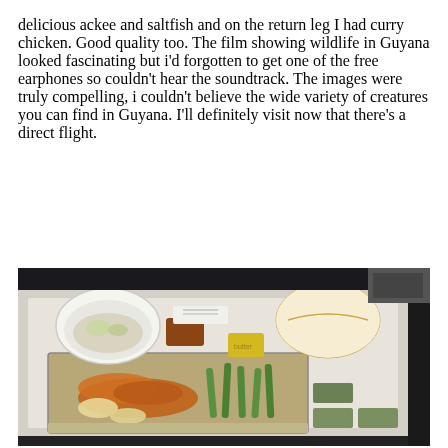delicious ackee and saltfish and on the return leg I had curry chicken. Good quality too. The film showing wildlife in Guyana looked fascinating but i'd forgotten to get one of the free earphones so couldn't hear the soundtrack. The images were truly compelling, i couldn't believe the wide variety of creatures you can find in Guyana. I'll definitely visit now that there's a direct flight.
[Figure (photo): Photo of an airline meal tray on a fold-down tray table. The tray contains a main course of curry chicken with green beans and potatoes in a foil container, a white bowl with what appears to be a salad or side dish with green garnish, a bread roll in plastic wrap, a yellow butter packet, and plastic cutlery wrapped in a napkin.]